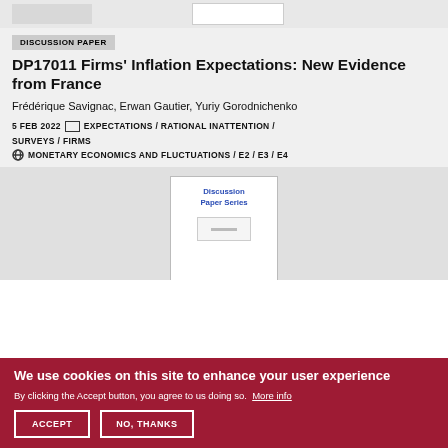DISCUSSION PAPER
DP17011 Firms' Inflation Expectations: New Evidence from France
Frédérique Savignac, Erwan Gautier, Yuriy Gorodnichenko
5 FEB 2022  EXPECTATIONS / RATIONAL INATTENTION / SURVEYS / FIRMS  MONETARY ECONOMICS AND FLUCTUATIONS / E2 / E3 / E4
[Figure (screenshot): Preview thumbnail of Discussion Paper Series cover page]
We use cookies on this site to enhance your user experience
By clicking the Accept button, you agree to us doing so. More info
ACCEPT   NO, THANKS